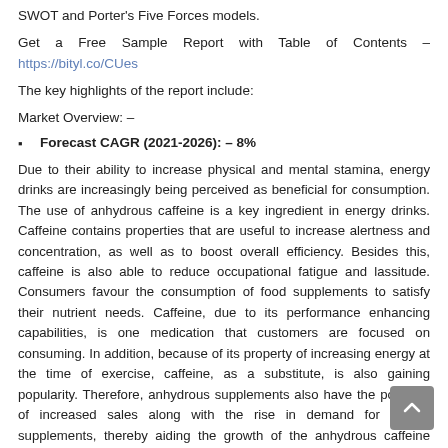SWOT and Porter's Five Forces models.
Get a Free Sample Report with Table of Contents – https://bityl.co/CUes
The key highlights of the report include:
Market Overview: –
Forecast CAGR (2021-2026): – 8%
Due to their ability to increase physical and mental stamina, energy drinks are increasingly being perceived as beneficial for consumption. The use of anhydrous caffeine is a key ingredient in energy drinks. Caffeine contains properties that are useful to increase alertness and concentration, as well as to boost overall efficiency. Besides this, caffeine is also able to reduce occupational fatigue and lassitude. Consumers favour the consumption of food supplements to satisfy their nutrient needs. Caffeine, due to its performance enhancing capabilities, is one medication that customers are focused on consuming. In addition, because of its property of increasing energy at the time of exercise, caffeine, as a substitute, is also gaining popularity. Therefore, anhydrous supplements also have the potential of increased sales along with the rise in demand for dietary supplements, thereby aiding the growth of the anhydrous caffeine market.
Industry Definition and Major Segments.